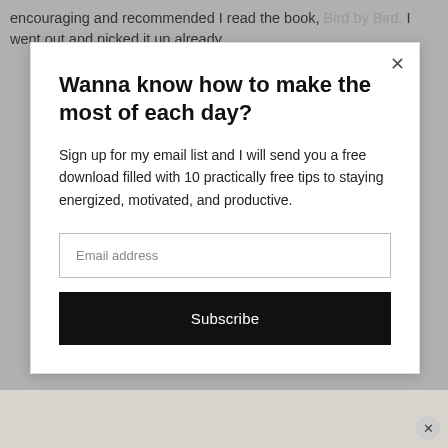encouraging and recommended I read the book, Bird by Bird.  I went out and picked it up already
Wanna know how to make the most of each day?
Sign up for my email list and I will send you a free download filled with 10 practically free tips to staying energized, motivated, and productive.
Email address
Subscribe
[Figure (photo): Bottom strip showing a partially visible photograph, with a small circular close button in the bottom-right corner.]